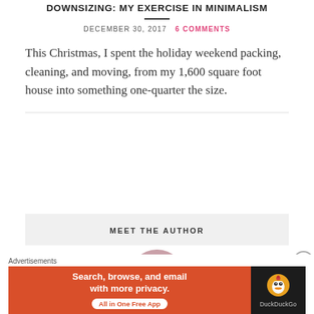DOWNSIZING: MY EXERCISE IN MINIMALISM
DECEMBER 30, 2017  6 COMMENTS
This Christmas, I spent the holiday weekend packing, cleaning, and moving, from my 1,600 square foot house into something one-quarter the size.
MEET THE AUTHOR
[Figure (photo): Author avatar circle, pink/mauve color, partially visible]
Advertisements
[Figure (screenshot): DuckDuckGo advertisement banner: orange section saying 'Search, browse, and email with more privacy. All in One Free App' with DuckDuckGo duck logo on dark background]